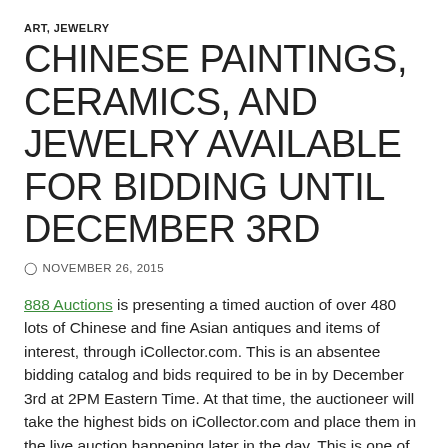ART, JEWELRY
CHINESE PAINTINGS, CERAMICS, AND JEWELRY AVAILABLE FOR BIDDING UNTIL DECEMBER 3RD
NOVEMBER 26, 2015
888 Auctions is presenting a timed auction of over 480 lots of Chinese and fine Asian antiques and items of interest, through iCollector.com. This is an absentee bidding catalog and bids required to be in by December 3rd at 2PM Eastern Time. At that time, the auctioneer will take the highest bids on iCollector.com and place them in the live auction happening later in the day. This is one of the best catalogs of the year from 888 Auctions and offers an outstanding selection of pieces to chose from. The various works are grouped together in the